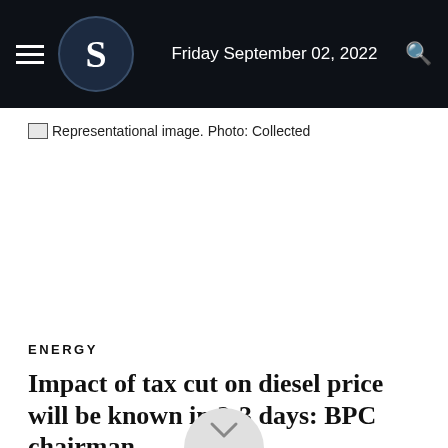Friday September 02, 2022
Representational image. Photo: Collected
ENERGY
Impact of tax cut on diesel price will be known in 2-3 days: BPC chairman